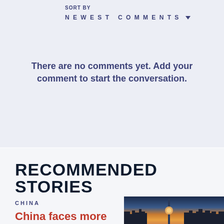SORT BY
NEWEST COMMENTS
There are no comments yet. Add your comment to start the conversation.
RECOMMENDED STORIES
CHINA
China faces more
[Figure (photo): City skyline at sunset with tall buildings silhouetted against a warm sky]